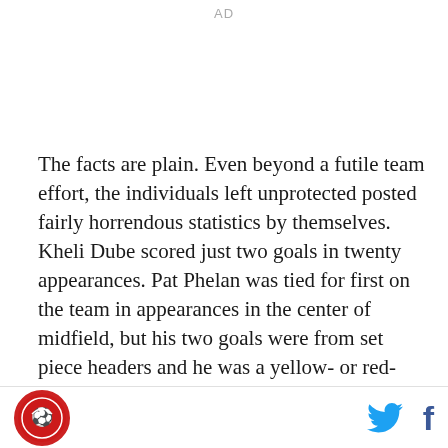AD
The facts are plain. Even beyond a futile team effort, the individuals left unprotected posted fairly horrendous statistics by themselves. Kheli Dube scored just two goals in twenty appearances. Pat Phelan was tied for first on the team in appearances in the center of midfield, but his two goals were from set piece headers and he was a yellow- or red-card liability every minute he featured. Those players made